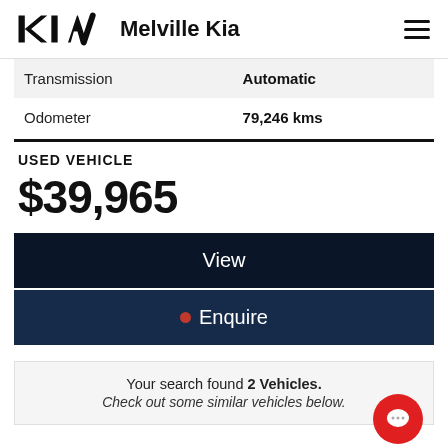Melville Kia
|  |  |
| --- | --- |
| Transmission | Automatic |
| Odometer | 79,246 kms |
USED VEHICLE
$39,965
View
Enquire
Your search found 2 Vehicles. Check out some similar vehicles below.